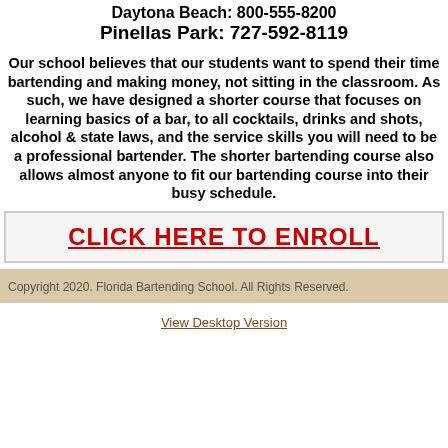Daytona Beach: 800-555-8200
Pinellas Park: 727-592-8119
Our school believes that our students want to spend their time bartending and making money, not sitting in the classroom. As such, we have designed a shorter course that focuses on learning basics of a bar, to all cocktails, drinks and shots, alcohol & state laws, and the service skills you will need to be a professional bartender. The shorter bartending course also allows almost anyone to fit our bartending course into their busy schedule.
CLICK HERE TO ENROLL
Copyright 2020. Florida Bartending School. All Rights Reserved.
View Desktop Version